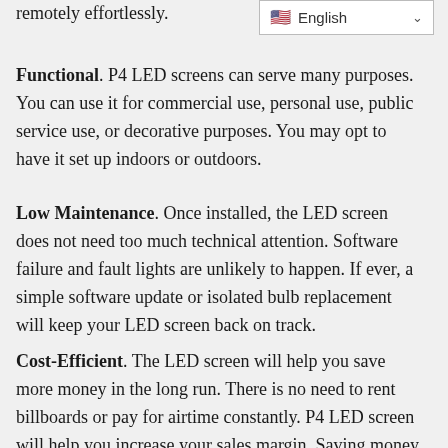remotely effortlessly.
Functional. P4 LED screens can serve many purposes. You can use it for commercial use, personal use, public service use, or decorative purposes. You may opt to have it set up indoors or outdoors.
Low Maintenance. Once installed, the LED screen does not need too much technical attention. Software failure and fault lights are unlikely to happen. If ever, a simple software update or isolated bulb replacement will keep your LED screen back on track.
Cost-Efficient. The LED screen will help you save more money in the long run. There is no need to rent billboards or pay for airtime constantly. P4 LED screen will help you increase your sales margin. Saving money does not mean compromising your brand visibility. LED screens let you have both. The LED screen also consumes less energy compared to a traditional